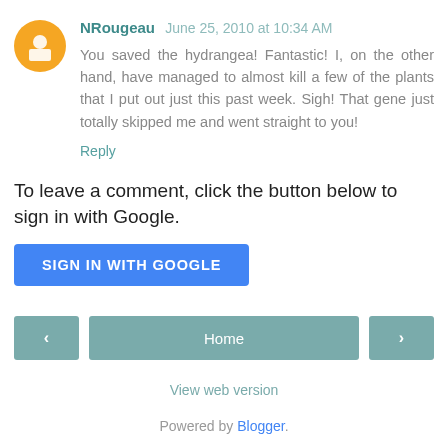NRougeau June 25, 2010 at 10:34 AM
You saved the hydrangea! Fantastic! I, on the other hand, have managed to almost kill a few of the plants that I put out just this past week. Sigh! That gene just totally skipped me and went straight to you!
Reply
To leave a comment, click the button below to sign in with Google.
SIGN IN WITH GOOGLE
Home
View web version
Powered by Blogger.